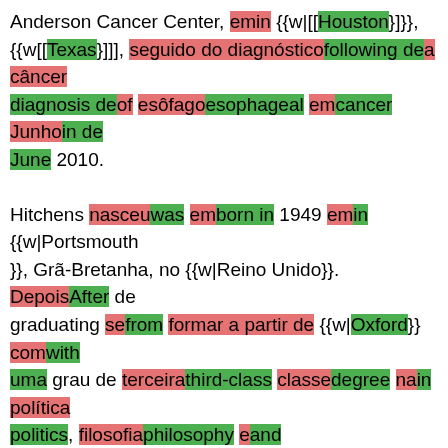Anderson Cancer Center, emin {{w|[[Houston}]}}, {{w[[Texas}]]], seguido do diagnósticofollowing dea câncer diagnosis deof esôfagoesophageal emcancer Junhoin de June 2010.

Hitchens nasceuwas emborn in 1949 emin {{w|Portsmouth}}, Grã-Bretanha, no {{w|Reino Unido}}. DepoisAfter de graduating sefrom formar a partir de {{w|Oxford}} comwith uma grau de terceirathird-class classedegree nain política politics, filosofiaphilosophy eand economiaeconomics em in 1970, Hitchens escreveuwrote brevementefor nothe
Pi zero
0
EDIÇÃO